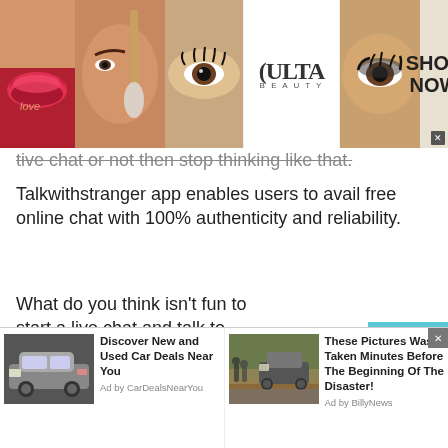[Figure (photo): Ulta Beauty advertisement banner with makeup photos (lips, brush, eye) and ULTA logo, SHOP NOW call to action on beige background]
tive chat or not then stop thinking like that.
Talkwithstranger app enables users to avail free online chat with 100% authenticity and reliability.
What do you think isn't fun to start a live chat and talk to strangers in Guinea ? Well, absolutely it is great fun to talk to strangers in Guinea without going anywhere. All you need your phone, a good internet connection and of course your nickname to talk to strangers online.
[Figure (screenshot): Teal scroll-up arrow button]
[Figure (photo): Ad: Discover New and Used Car Deals Near You - Ad by CarDealsNearYou - image of grey car]
[Figure (photo): Ad: These Pictures Was Taken Minutes Before The Beginning Of The Disaster! - Ad by BillyNews - image of SUV on flooded road]